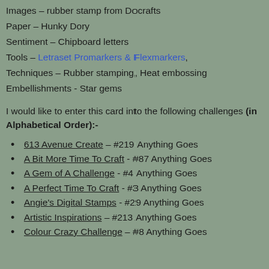Images – rubber stamp from Docrafts
Paper – Hunky Dory
Sentiment – Chipboard letters
Tools – Letraset Promarkers & Flexmarkers,
Techniques – Rubber stamping, Heat embossing
Embellishments - Star gems
I would like to enter this card into the following challenges (in Alphabetical Order):-
613 Avenue Create – #219 Anything Goes
A Bit More Time To Craft - #87 Anything Goes
A Gem of A Challenge - #4 Anything Goes
A Perfect Time To Craft - #3 Anything Goes
Angie's Digital Stamps - #29 Anything Goes
Artistic Inspirations – #213 Anything Goes
Colour Crazy Challenge – #8 Anything Goes